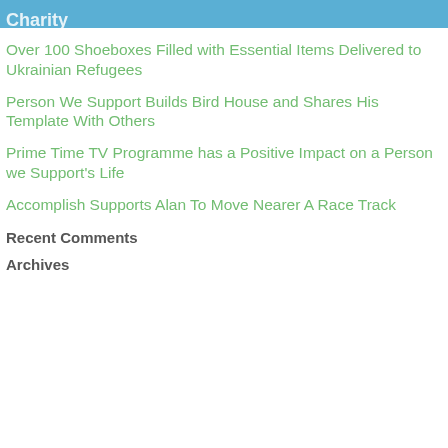Charity
Over 100 Shoeboxes Filled with Essential Items Delivered to Ukrainian Refugees
Person We Support Builds Bird House and Shares His Template With Others
Prime Time TV Programme has a Positive Impact on a Person we Support's Life
Accomplish Supports Alan To Move Nearer A Race Track
Recent Comments
Archives